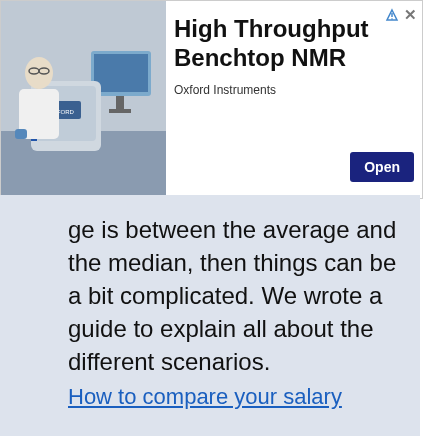[Figure (infographic): Advertisement banner for Oxford Instruments High Throughput Benchtop NMR. Shows a scientist in a lab coat working at a computer beside a benchtop NMR instrument. Text reads 'High Throughput Benchtop NMR' with 'Oxford Instruments' subtitle and an 'Open' button.]
ge is between the average and the median, then things can be a bit complicated. We wrote a guide to explain all about the different scenarios. How to compare your salary